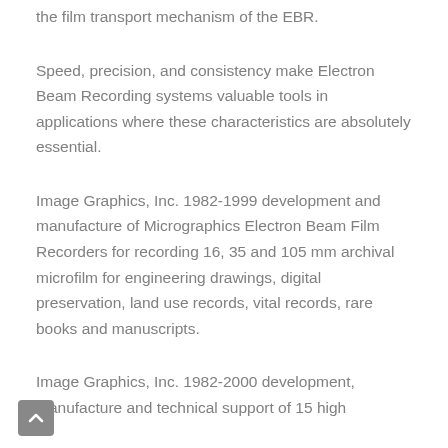the film transport mechanism of the EBR.
Speed, precision, and consistency make Electron Beam Recording systems valuable tools in applications where these characteristics are absolutely essential.
Image Graphics, Inc. 1982-1999 development and manufacture of Micrographics Electron Beam Film Recorders for recording 16, 35 and 105 mm archival microfilm for engineering drawings, digital preservation, land use records, vital records, rare books and manuscripts.
Image Graphics, Inc. 1982-2000 development, manufacture and technical support of 15 high